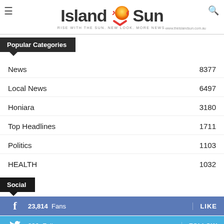[Figure (logo): Island Sun newspaper logo with sun graphic, tagline 'RISE WITH THE SUN. NEW LOOK. MORE NEWS.' and website www.theislandsun.com.au]
Popular Categories
News  8377
Local News  6497
Honiara  3180
Top Headlines  1711
Politics  1103
HEALTH  1032
Social
23,814 Fans  LIKE
226 Followers  FOLLOW